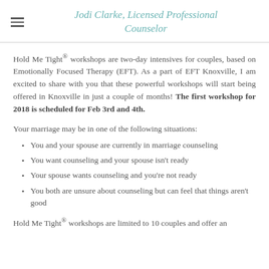Jodi Clarke, Licensed Professional Counselor
Hold Me Tight® workshops are two-day intensives for couples, based on Emotionally Focused Therapy (EFT). As a part of EFT Knoxville, I am excited to share with you that these powerful workshops will start being offered in Knoxville in just a couple of months! The first workshop for 2018 is scheduled for Feb 3rd and 4th.
Your marriage may be in one of the following situations:
You and your spouse are currently in marriage counseling
You want counseling and your spouse isn't ready
Your spouse wants counseling and you're not ready
You both are unsure about counseling but can feel that things aren't good
Hold Me Tight® workshops are limited to 10 couples and offer an